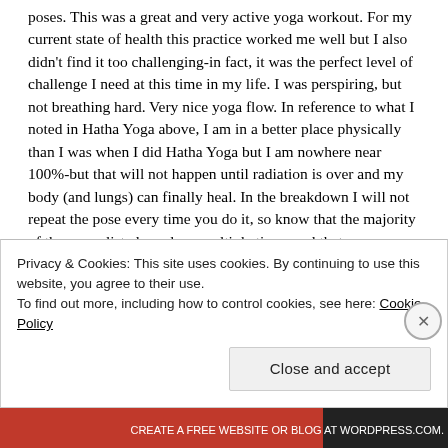poses. This was a great and very active yoga workout. For my current state of health this practice worked me well but I also didn't find it too challenging-in fact, it was the perfect level of challenge I need at this time in my life. I was perspiring, but not breathing hard. Very nice yoga flow. In reference to what I noted in Hatha Yoga above, I am in a better place physically than I was when I did Hatha Yoga but I am nowhere near 100%-but that will not happen until radiation is over and my body (and lungs) can finally heal. In the breakdown I will not repeat the pose every time you do it, so know that the majority of the poses listed are done multiple times and that
Privacy & Cookies: This site uses cookies. By continuing to use this website, you agree to their use.
To find out more, including how to control cookies, see here: Cookie Policy
Close and accept